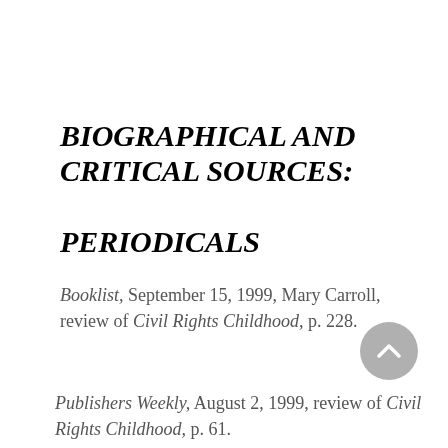BIOGRAPHICAL AND CRITICAL SOURCES: PERIODICALS
Booklist, September 15, 1999, Mary Carroll, review of Civil Rights Childhood, p. 228.
Publishers Weekly, August 2, 1999, review of Civil Rights Childhood, p. 61.